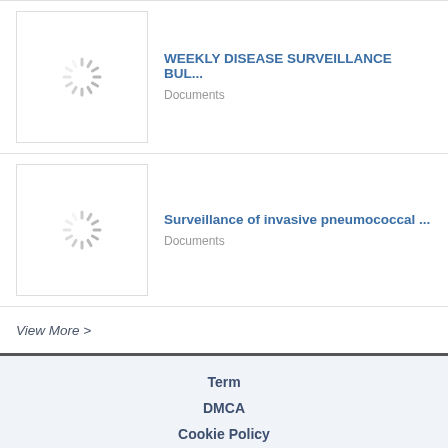[Figure (screenshot): Loading spinner thumbnail for Weekly Disease Surveillance Bulletin document]
WEEKLY DISEASE SURVEILLANCE BUL...
Documents
[Figure (screenshot): Loading spinner thumbnail for Surveillance of invasive pneumococcal document]
Surveillance of invasive pneumococcal ...
Documents
View More >
Term
DMCA
Cookie Policy
Contact Us
Copyright © 2018 FDOCUMENTS